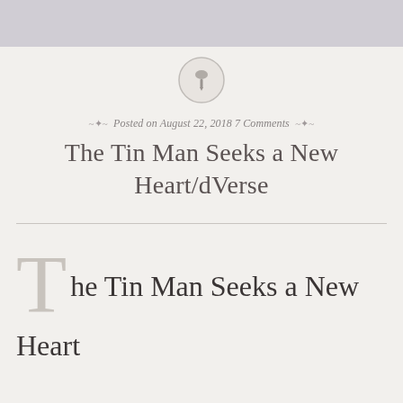[Figure (illustration): Circular pin/pushpin icon with a gray circle border on a light background]
Posted on August 22, 2018 7 Comments
The Tin Man Seeks a New Heart/dVerse
The Tin Man Seeks a New Heart